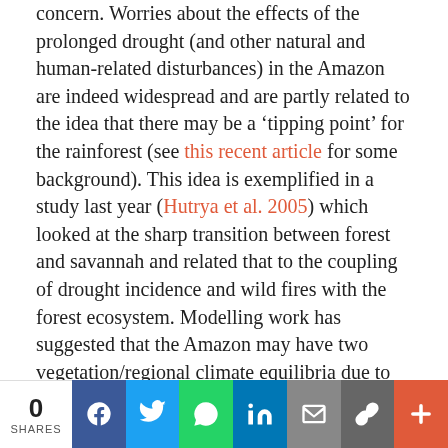concern. Worries about the effects of the prolonged drought (and other natural and human-related disturbances) in the Amazon are indeed widespread and are partly related to the idea that there may be a 'tipping point' for the rainforest (see this recent article for some background). This idea is exemplified in a study last year (Hutrya et al. 2005) which looked at the sharp transition between forest and savannah and related that to the coupling of drought incidence and wild fires with the forest ecosystem. Modelling work has suggested that the Amazon may have two vegetation/regional climate equilibria due to vegetation and climate tending to reinforce each other if one is pushed in a particular direction (Oyama and Nobre, 2003). The two alternative states could be one rainforested and wet like today, the other mainly savannah and dry in the Eastern Amazon. Thus there is a fear that too much drought or disturbance could flip parts of the forest into a more savannah-like state.
0 SHARES | Facebook | Twitter | WhatsApp | LinkedIn | Email | Copy | More